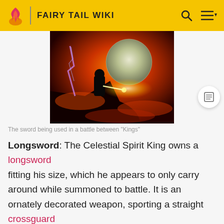FAIRY TAIL WIKI
[Figure (photo): A dark scene showing a figure using a glowing sword against a large celestial orb, with orange-red sky background — from an anime battle scene.]
The sword being used in a battle between "Kings"
Longsword: The Celestial Spirit King owns a longsword fitting his size, which he appears to only carry around while summoned to battle. It is an ornately decorated weapon, sporting a straight crossguard , with arms which enlarge into protrusions similar to arrowheads , adorned in its center by an ornament, bearing a round